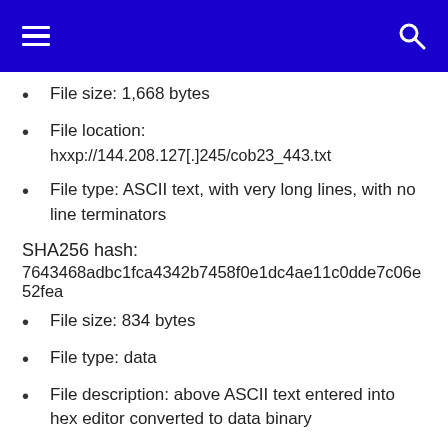Navigation header with menu and search icons
File size: 1,668 bytes
File location: hxxp://144.208.127[.]245/cob23_443.txt
File type: ASCII text, with very long lines, with no line terminators
SHA256 hash:
7643468adbc1fca4342b7458f0e1dc4ae11c0dde7c06e52fea
File size: 834 bytes
File type: data
File description: above ASCII text entered into hex editor converted to data binary